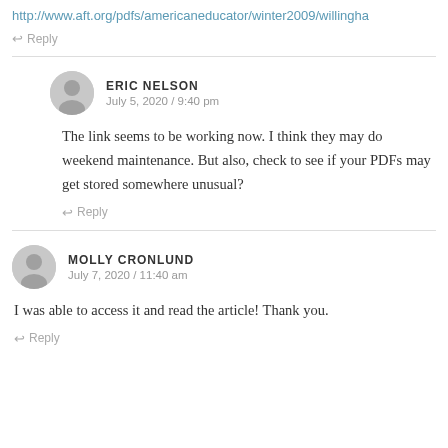http://www.aft.org/pdfs/americaneducator/winter2009/willingha
↩ Reply
ERIC NELSON
July 5, 2020 / 9:40 pm
The link seems to be working now. I think they may do weekend maintenance. But also, check to see if your PDFs may get stored somewhere unusual?
↩ Reply
MOLLY CRONLUND
July 7, 2020 / 11:40 am
I was able to access it and read the article! Thank you.
↩ Reply